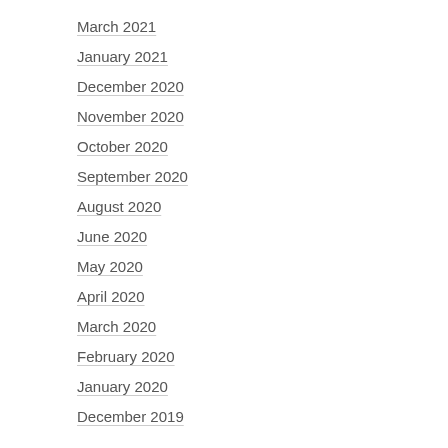March 2021
January 2021
December 2020
November 2020
October 2020
September 2020
August 2020
June 2020
May 2020
April 2020
March 2020
February 2020
January 2020
December 2019